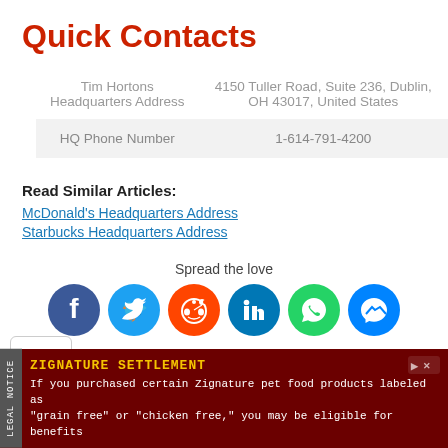Quick Contacts
| Tim Hortons Headquarters Address | 4150 Tuller Road, Suite 236, Dublin, OH 43017, United States |
| HQ Phone Number | 1-614-791-4200 |
Read Similar Articles:
McDonald's Headquarters Address
Starbucks Headquarters Address
Spread the love
[Figure (infographic): Social share buttons: Facebook, Twitter, Reddit, LinkedIn, WhatsApp, Messenger]
LEGAL NOTICE | ZIGNATURE SETTLEMENT | If you purchased certain Zignature pet food products labeled as "grain free" or "chicken free," you may be eligible for benefits